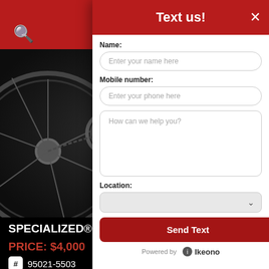[Figure (screenshot): Background of bicycle product listing page showing dark background with bike wheel/drivetrain image, red navigation bar, product title 'SPECIALIZED® W...', price 'PRICE: $4,000', item number '95021-5503', condition 'New', color 'Forest Green / Black /']
Text us!
Name:
Enter your name here
Mobile number:
Enter your phone here
How can we help you?
Location:
Send Text
Powered by  Ikeono